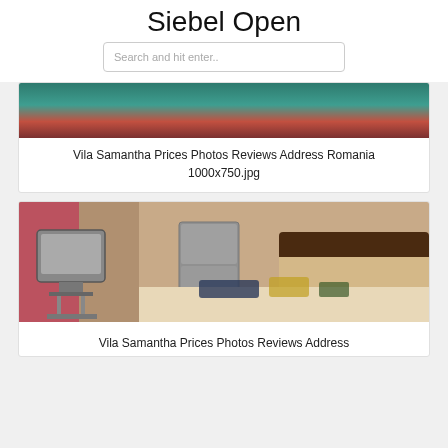Siebel Open
Search and hit enter..
[Figure (photo): Partial view of a hotel room with colorful floral bedding]
Vila Samantha Prices Photos Reviews Address Romania
1000x750.jpg
[Figure (photo): Hotel room with an old CRT TV on a stand, pink/red curtains, refrigerator, and a bed with decorative items]
Vila Samantha Prices Photos Reviews Address